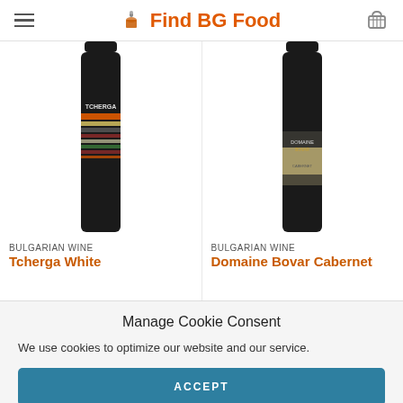Find BG Food
[Figure (photo): Two wine bottle product cards: left is Tcherga White Bulgarian Wine, right is Domaine Bovar Cabernet Bulgarian Wine. Both bottles are dark/black with distinctive labels, shown partially cropped at top.]
BULGARIAN WINE
Tcherga White
BULGARIAN WINE
Domaine Bovar Cabernet
Manage Cookie Consent
We use cookies to optimize our website and our service.
ACCEPT
Cookie Policy   Privacy Policy